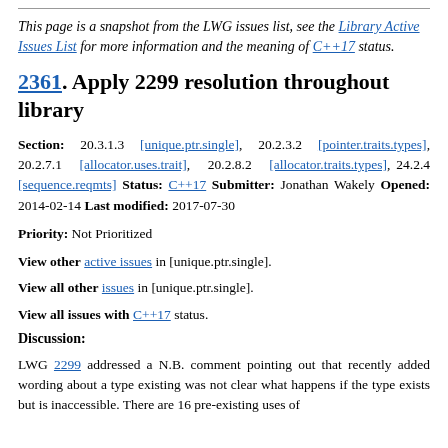This page is a snapshot from the LWG issues list, see the Library Active Issues List for more information and the meaning of C++17 status.
2361. Apply 2299 resolution throughout library
Section: 20.3.1.3 [unique.ptr.single], 20.2.3.2 [pointer.traits.types], 20.2.7.1 [allocator.uses.trait], 20.2.8.2 [allocator.traits.types], 24.2.4 [sequence.reqmts] Status: C++17 Submitter: Jonathan Wakely Opened: 2014-02-14 Last modified: 2017-07-30
Priority: Not Prioritized
View other active issues in [unique.ptr.single].
View all other issues in [unique.ptr.single].
View all issues with C++17 status.
Discussion:
LWG 2299 addressed a N.B. comment pointing out that recently added wording about a type existing was not clear what happens if the type exists but is inaccessible. There are 16 pre-existing uses of